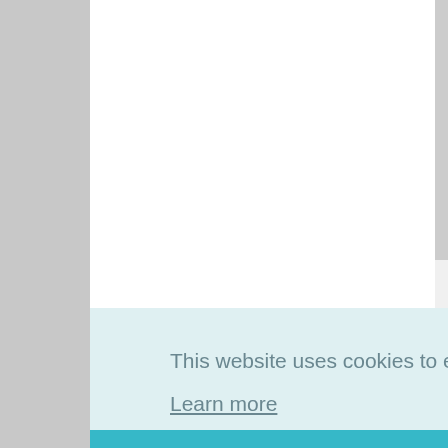Then I trim Tada! Inst Not only m
This website uses cookies to ensure you get the best experience on our website.
Learn more
Got it!